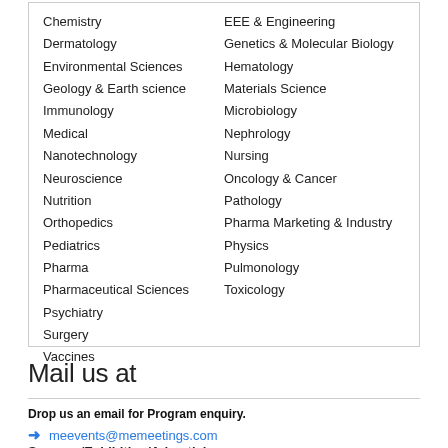Chemistry
Dermatology
Environmental Sciences
Geology & Earth science
Immunology
Medical
Nanotechnology
Neuroscience
Nutrition
Orthopedics
Pediatrics
Pharma
Pharmaceutical Sciences
Psychiatry
Surgery
Vaccines
EEE & Engineering
Genetics & Molecular Biology
Hematology
Materials Science
Microbiology
Nephrology
Nursing
Oncology & Cancer
Pathology
Pharma Marketing & Industry
Physics
Pulmonology
Toxicology
Mail us at
Drop us an email for Program enquiry.
meevents@memeetings.com
Sponsor/Exhibition/Advertising